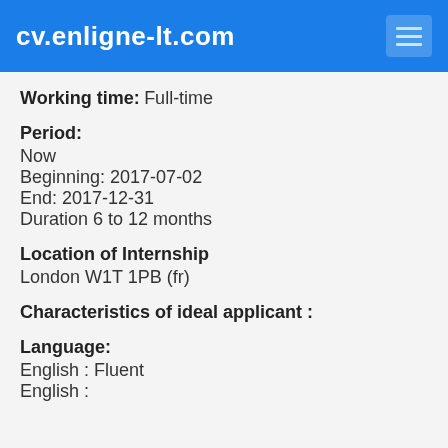cv.enligne-lt.com
Working time: Full-time
Period:
Now
Beginning: 2017-07-02
End: 2017-12-31
Duration 6 to 12 months
Location of Internship
London W1T 1PB (fr)
Characteristics of ideal applicant :
Language:
English : Fluent
English :